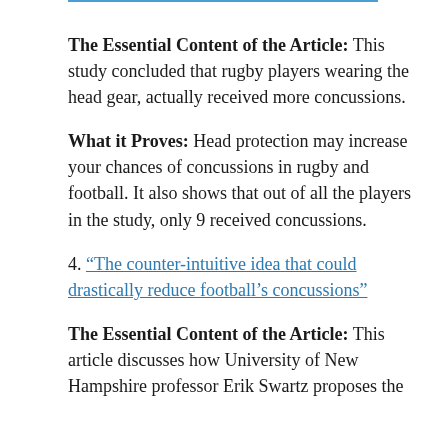The Essential Content of the Article: This study concluded that rugby players wearing the head gear, actually received more concussions.
What it Proves: Head protection may increase your chances of concussions in rugby and football. It also shows that out of all the players in the study, only 9 received concussions.
4. "The counter-intuitive idea that could drastically reduce football’s concussions"
The Essential Content of the Article: This article discusses how University of New Hampshire professor Erik Swartz proposes the